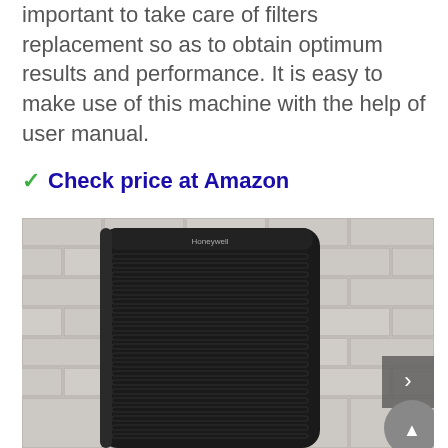important to take care of filters replacement so as to obtain optimum results and performance. It is easy to make use of this machine with the help of user manual.
✓ Check price at Amazon
[Figure (photo): A black Honeywell air purifier with horizontal vents, placed against a white brick wall background. A navigation arrow button is visible on the right side, and a scroll-to-top button is at the bottom right.]